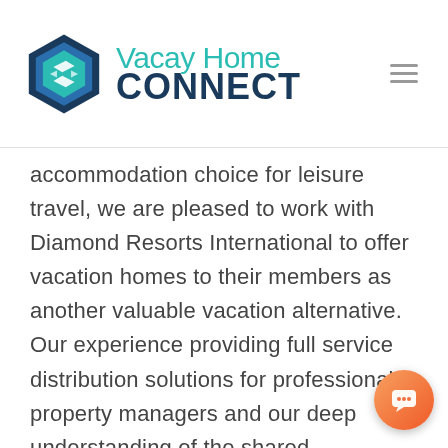VacayHome Connect
accommodation choice for leisure travel, we are pleased to work with Diamond Resorts International to offer vacation homes to their members as another valuable vacation alternative. Our experience providing full service distribution solutions for professional property managers and our deep understanding of the shared-ownership industry was